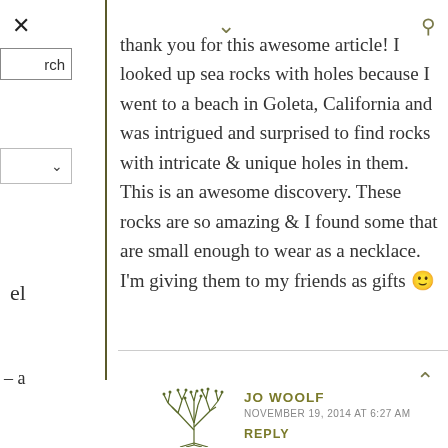thank you for this awesome article! I looked up sea rocks with holes because I went to a beach in Goleta, California and was intrigued and surprised to find rocks with intricate & unique holes in them. This is an awesome discovery. These rocks are so amazing & I found some that are small enough to wear as a necklace. I'm giving them to my friends as gifts 🙂
el
– a
JO WOOLF
NOVEMBER 19, 2014 AT 6:27 AM
REPLY